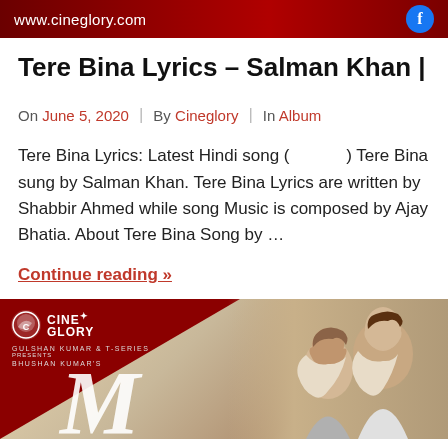www.cineglory.com
Tere Bina Lyrics – Salman Khan |
On June 5, 2020 | By Cineglory | In Album
Tere Bina Lyrics: Latest Hindi song ( ) Tere Bina sung by Salman Khan. Tere Bina Lyrics are written by Shabbir Ahmed while song Music is composed by Ajay Bhatia. About Tere Bina Song by …
Continue reading »
[Figure (photo): CineGlory branded image with dark red triangle overlay, Gulshan Kumar & T-Series and Bhushan Kumar's text, large stylized 'M' letter, and couple on right side]